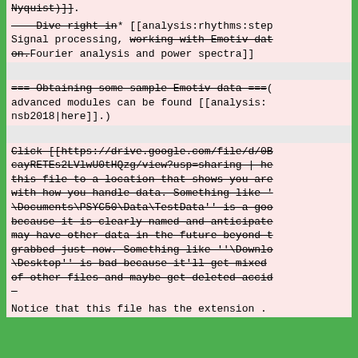Nyquist)]].
– Dive right in* [[analysis:rhythms:step Signal processing, working with Emotiv dat on.Fourier analysis and power spectra]]
=== Obtaining some sample Emotiv data ===(advanced modules can be found [[analysis:nsb2018|here]].)
Click [[https://drive.google.com/file/d/0BcayRETEs2LVlwU0tHQzg/view?usp=sharing | he this file to a location that shows you are with how you handle data. Something like '\Documents\PSYC50\Data\TestData'' is a goo because it is clearly named and anticipate may have other data in the future beyond t grabbed just now. Something like ''\Downlo\Desktop'' is bad because it'll get mixed of other files and maybe get deleted accid –
Notice that this file has the extension .